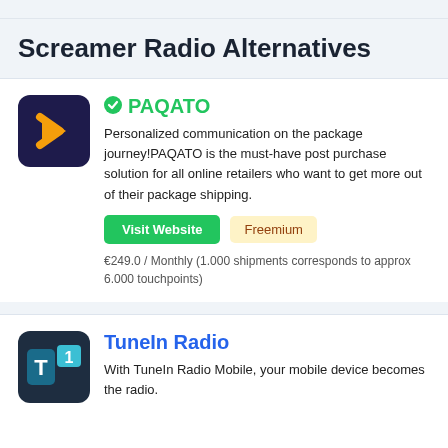Screamer Radio Alternatives
PAQATO
Personalized communication on the package journey!PAQATO is the must-have post purchase solution for all online retailers who want to get more out of their package shipping.
Visit Website   Freemium
€249.0 / Monthly (1.000 shipments corresponds to approx 6.000 touchpoints)
TuneIn Radio
With TuneIn Radio Mobile, your mobile device becomes the radio.